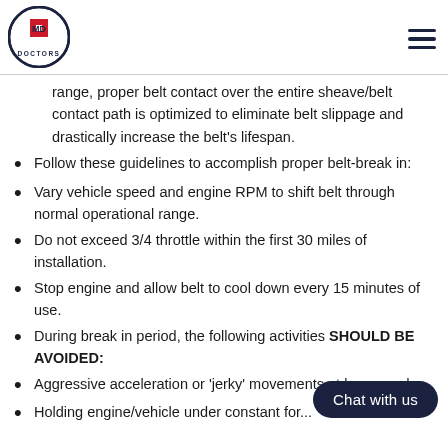MD Doctors logo and hamburger menu
range, proper belt contact over the entire sheave/belt contact path is optimized to eliminate belt slippage and drastically increase the belt's lifespan.
Follow these guidelines to accomplish proper belt-break in:
Vary vehicle speed and engine RPM to shift belt through normal operational range.
Do not exceed 3/4 throttle within the first 30 miles of installation.
Stop engine and allow belt to cool down every 15 minutes of use.
During break in period, the following activities SHOULD BE AVOIDED:
Aggressive acceleration or 'jerky' movements at low speeds
Holding engine/vehicle under constant for...